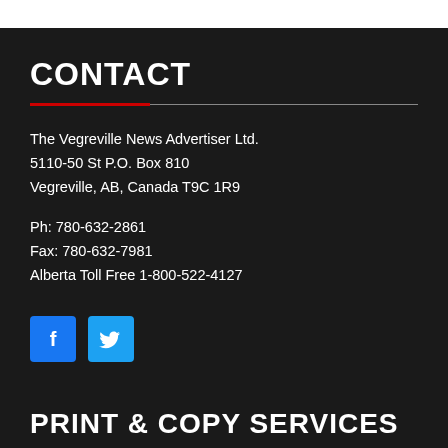CONTACT
The Vegreville News Advertiser Ltd.
5110-50 St P.O. Box 810
Vegreville, AB, Canada T9C 1R9
Ph: 780-632-2861
Fax: 780-632-7981
Alberta Toll Free 1-800-522-4127
[Figure (illustration): Facebook and Twitter social media icon buttons (blue squares with white icons)]
PRINT & COPY SERVICES